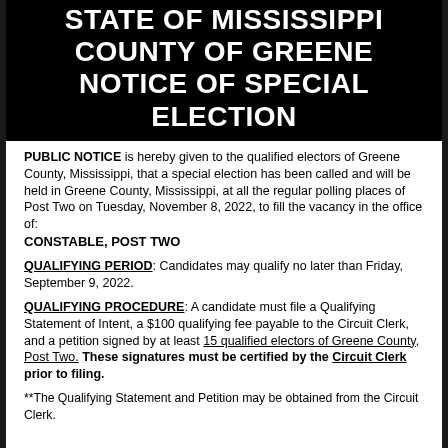STATE OF MISSISSIPPI COUNTY OF GREENE NOTICE OF SPECIAL ELECTION
PUBLIC NOTICE is hereby given to the qualified electors of Greene County, Mississippi, that a special election has been called and will be held in Greene County, Mississippi, at all the regular polling places of Post Two on Tuesday, November 8, 2022, to fill the vacancy in the office of: CONSTABLE, POST TWO
QUALIFYING PERIOD: Candidates may qualify no later than Friday, September 9, 2022.
QUALIFYING PROCEDURE: A candidate must file a Qualifying Statement of Intent, a $100 qualifying fee payable to the Circuit Clerk, and a petition signed by at least 15 qualified electors of Greene County, Post Two. These signatures must be certified by the Circuit Clerk prior to filing.
**The Qualifying Statement and Petition may be obtained from the Circuit Clerk.